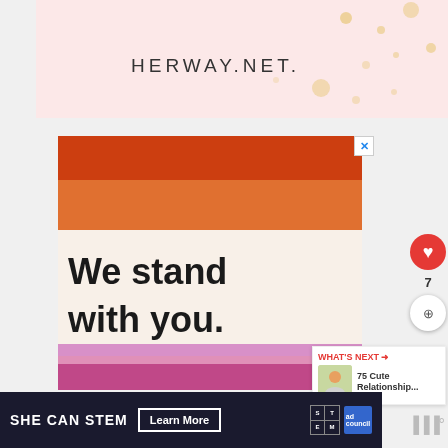[Figure (screenshot): HERWAY.NET website header banner with pink background and gold decorative dots]
[Figure (infographic): Advertisement with rainbow flag stripes (red, orange, light orange, white, lavender, pink, magenta) and bold text 'We stand with you.' with a blue close X button]
We stand with you.
[Figure (infographic): SHE CAN STEM advertisement banner with dark background, 'Learn More' button, STEM and Ad Council logos]
SHE CAN STEM  Learn More
WHAT'S NEXT → 75 Cute Relationship...
7